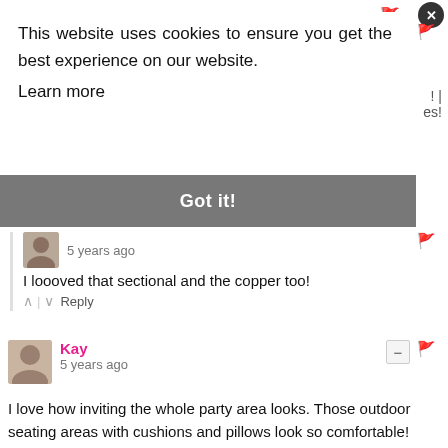This website uses cookies to ensure you get the best experience on our website. Learn more
Got it!
5 years ago
I loooved that sectional and the copper too!
Reply
Kay · 5 years ago
I love how inviting the whole party area looks. Those outdoor seating areas with cushions and pillows look so comfortable!
Reply
Create/Enjoy → Kay · 5 years ago
Yes, lots of welcoming seating!